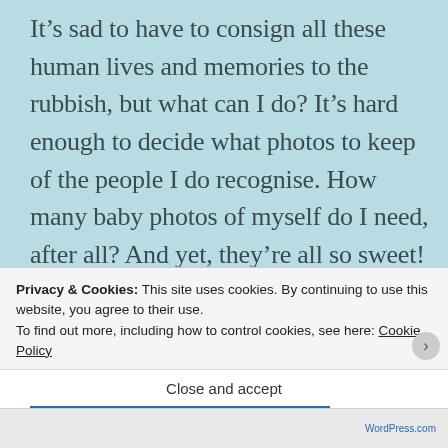It's sad to have to consign all these human lives and memories to the rubbish, but what can I do? It's hard enough to decide what photos to keep of the people I do recognise. How many baby photos of myself do I need, after all? And yet, they're all so sweet! In fact, I seem to be building, brick by brick, photo by photo, a picture of a happy childhood which – to be honest –
Privacy & Cookies: This site uses cookies. By continuing to use this website, you agree to their use.
To find out more, including how to control cookies, see here: Cookie Policy
Close and accept